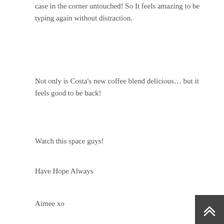case in the corner untouched! So It feels amazing to be typing again without distraction.
Not only is Costa's new coffee blend delicious… but it feels good to be back!
Watch this space guys!
Have Hope Always
Aimee xo
Share this:
[Figure (infographic): Three social media share buttons: Twitter (blue circle with bird icon), Facebook (dark blue circle with f icon), Google+ (red circle with g+ icon)]
Like this:
[Figure (infographic): Like button with star icon]